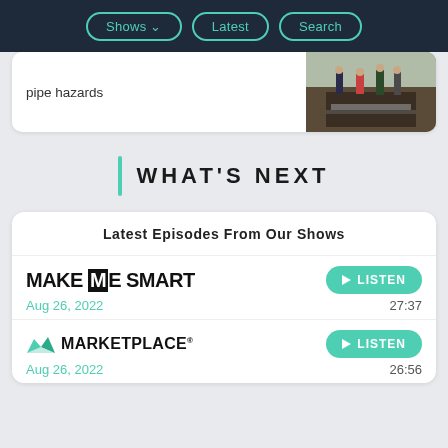Shows | Latest | Search
pipe hazards
[Figure (photo): People working outdoors around excavated area, possibly pipe-related work site]
WHAT'S NEXT
Latest Episodes From Our Shows
[Figure (logo): Make Me Smart logo in bold black text]
Aug 26, 2022   27:37
[Figure (logo): Marketplace logo with green M icon]
Aug 26, 2022   26:56